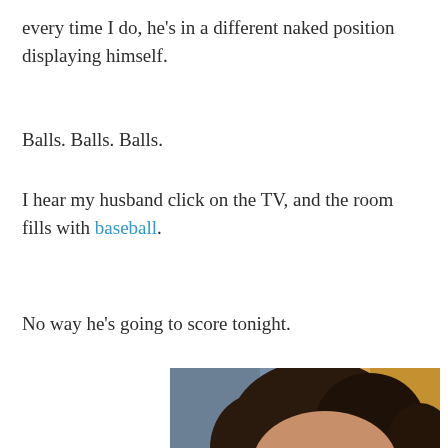every time I do, he's in a different naked position displaying himself.
Balls. Balls. Balls.
I hear my husband click on the TV, and the room fills with baseball.
No way he's going to score tonight.
[Figure (photo): Woman with curly dark hair lying down with eyes closed, head resting on what appears to be a baseball glove]